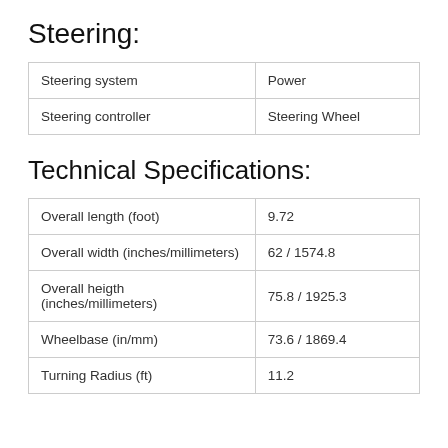Steering:
| Steering system | Power |
| Steering controller | Steering Wheel |
Technical Specifications:
| Overall length (foot) | 9.72 |
| Overall width (inches/millimeters) | 62 / 1574.8 |
| Overall heigth (inches/millimeters) | 75.8 / 1925.3 |
| Wheelbase (in/mm) | 73.6 / 1869.4 |
| Turning Radius (ft) | 11.2 |